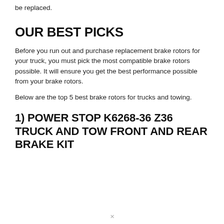be replaced.
OUR BEST PICKS
Before you run out and purchase replacement brake rotors for your truck, you must pick the most compatible brake rotors possible. It will ensure you get the best performance possible from your brake rotors.
Below are the top 5 best brake rotors for trucks and towing.
1) POWER STOP K6268-36 Z36 TRUCK AND TOW FRONT AND REAR BRAKE KIT